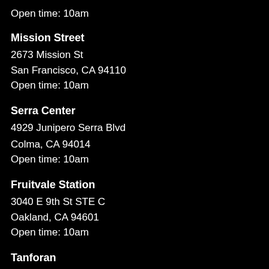Open time: 10am
Mission Street
2673 Mission St
San Francisco, CA 94110
Open time: 10am
Serra Center
4929 Junipero Serra Blvd
Colma, CA 94014
Open time: 10am
Fruitvale Station
3040 E 9th St STE C
Oakland, CA 94601
Open time: 10am
Tanforan